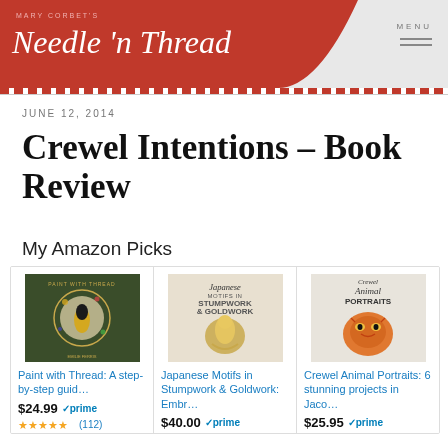Mary Corbet's Needle 'n Thread — MENU
JUNE 12, 2014
Crewel Intentions – Book Review
My Amazon Picks
[Figure (illustration): Book cover: Paint with Thread by Emilie Ferris, dark green with floral bee embroidery design]
Paint with Thread: A step-by-step guid…
$24.99 prime
★★★★★ (112)
[Figure (illustration): Book cover: Japanese Motifs in Stumpwork & Goldwork, beige cover with golden bird ornament]
Japanese Motifs in Stumpwork & Goldwork: Embr…
$40.00 prime
[Figure (illustration): Book cover: Crewel Animal Portraits: 6 stunning projects in Jaco…, featuring a crewelwork tiger face]
Crewel Animal Portraits: 6 stunning projects in Jaco…
$25.95 prime